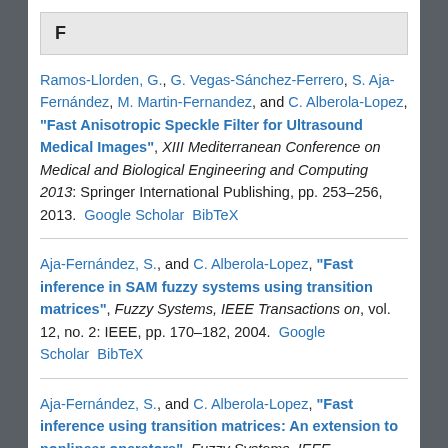F
Ramos-Llorden, G., G. Vegas-Sánchez-Ferrero, S. Aja-Fernández, M. Martin-Fernandez, and C. Alberola-Lopez, "Fast Anisotropic Speckle Filter for Ultrasound Medical Images", XIII Mediterranean Conference on Medical and Biological Engineering and Computing 2013: Springer International Publishing, pp. 253–256, 2013.  Google Scholar  BibTeX
Aja-Fernández, S., and C. Alberola-Lopez, "Fast inference in SAM fuzzy systems using transition matrices", Fuzzy Systems, IEEE Transactions on, vol. 12, no. 2: IEEE, pp. 170–182, 2004.  Google Scholar  BibTeX
Aja-Fernández, S., and C. Alberola-Lopez, "Fast inference using transition matrices: An extension to nonlinear operators", Fuzzy Systems, IEEE Transactions on, vol. 13, no. 4: IEEE, pp. 470–490, 2005.  Google Scholar  BibTeX